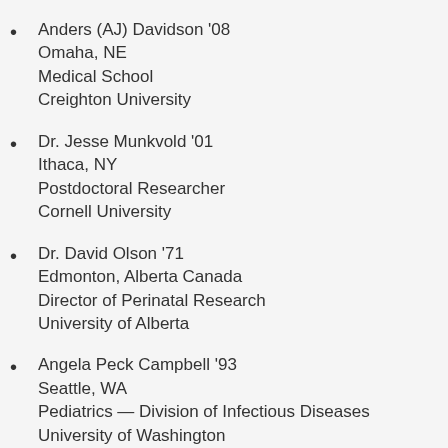Anders (AJ) Davidson '08
Omaha, NE
Medical School
Creighton University
Dr. Jesse Munkvold '01
Ithaca, NY
Postdoctoral Researcher
Cornell University
Dr. David Olson '71
Edmonton, Alberta Canada
Director of Perinatal Research
University of Alberta
Angela Peck Campbell '93
Seattle, WA
Pediatrics — Division of Infectious Diseases
University of Washington
Ellen Holste '03
East Lansing, MI